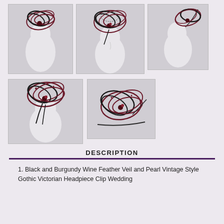[Figure (photo): Five product photos of a black and burgundy wine feather veil headpiece on mannequin heads, arranged in a grid: three on top row, two on bottom row.]
DESCRIPTION
1. Black and Burgundy Wine Feather Veil and Pearl Vintage Style Gothic Victorian Headpiece Clip Wedding